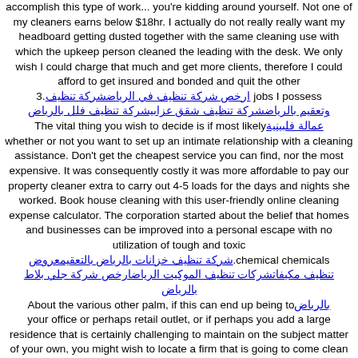accomplish this type of work... you're kidding around yourself. Not one of my cleaners earns below $18hr. I actually do not really really want my headboard getting dusted together with the same cleaning use with which the upkeep person cleaned the leading with the desk. We only wish I could charge that much and get more clients, therefore I could afford to get insured and bonded and quit the other .3 jobs I possess ارخص شركة تنظيف في الرياضشركة تنظيف وتعقيم بالرياضشركة تنظيف شقق عزابيشركة تنظيف فلل بالرياض The vital thing you wish to decide is if most likely عمالة فلبينية whether or not you want to set up an intimate relationship with a cleaning assistance. Don't get the cheapest service you can find, nor the most expensive. It was consequently costly it was more affordable to pay our property cleaner extra to carry out 4-5 loads for the days and nights she worked. Book house cleaning with this user-friendly online cleaning expense calculator. The corporation started about the belief that homes and businesses can be improved into a personal escape with no utilization of tough and toxic chemical chemicals. شركة تنظيف خزانات بالرياض بالتعقيمعروض تنظيف مكيفاتشركات تنظيف الموكيت الرياضارخص شركة جلي بلاط بالرياض About the various other palm, if this can end up being to your office or perhaps retail outlet, or if perhaps you add a large residence that is certainly challenging to maintain on the subject matter of your own, you might wish to locate a firm that is going to come clean for yourself about a set schedule. Don't hesitate to permit them know what certain things parts of the home you wan